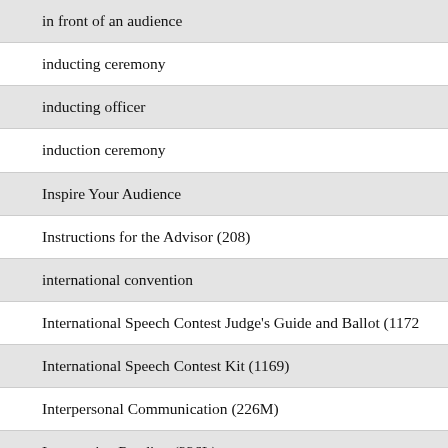in front of an audience
inducting ceremony
inducting officer
induction ceremony
Inspire Your Audience
Instructions for the Advisor (208)
international convention
International Speech Contest Judge's Guide and Ballot (1172
International Speech Contest Kit (1169)
Interpersonal Communication (226M)
Interpretive Reading (226L)
Introducing the Speaker